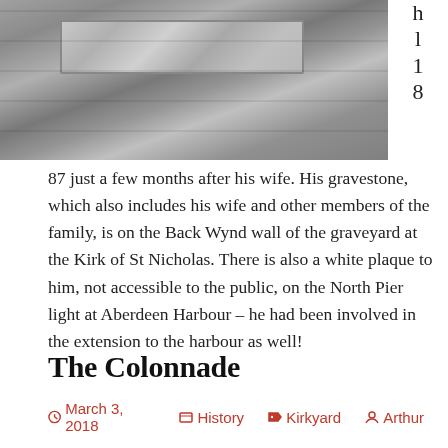[Figure (photo): Photograph of a stone wall or gravestone with carved relief inscription, grey stone texture with horizontal masonry courses visible]
87 just a few months after his wife. His gravestone, which also includes his wife and other members of the family, is on the Back Wynd wall of the graveyard at the Kirk of St Nicholas. There is also a white plaque to him, not accessible to the public, on the North Pier light at Aberdeen Harbour – he had been involved in the extension to the harbour as well!
The Colonnade
March 3, 2018   History   Kirkyard   Arthur